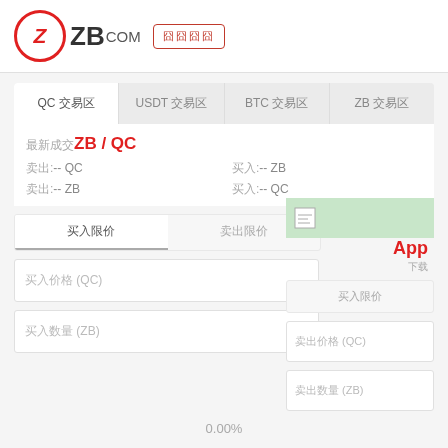ZB.com
QC 交易区  USDT 交易区  BTC 交易区  ZB 交易区
最新成交ZB / QC
卖出:-- QC  卖出:-- ZB  买入:-- ZB  买入:-- QC
App  下载
买入限价  卖出限价
买入价格 (QC)
买入数量 (ZB)
卖出价格 (QC)
卖出数量 (ZB)
0.00%